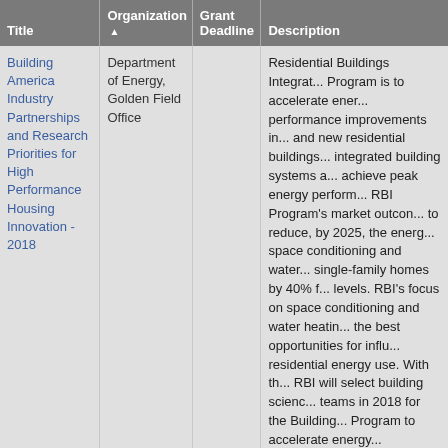| Title | Organization ▲ | Grant Deadline | Description |
| --- | --- | --- | --- |
| Building America Industry Partnerships and Research Priorities for High Performance Housing Innovation - 2018 | Department of Energy, Golden Field Office |  | Residential Buildings Integrat... Program is to accelerate ener... performance improvements in... and new residential buildings... integrated building systems a... achieve peak energy perform... RBI Program's market outcon... to reduce, by 2025, the energ... space conditioning and water... single-family homes by 40% f... levels. RBI's focus on space... conditioning and water heatin... the best opportunities for influ... residential energy use. With th... RBI will select building scienc... teams in 2018 for the Building... Program to accelerate energy... performance improvements in... and new residential buildings... integrated building systems a... and achieve optimal home en... performance. These Building... |